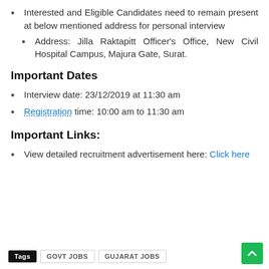Interested and Eligible Candidates need to remain present at below mentioned address for personal interview
Address: Jilla Raktapitt Officer's Office, New Civil Hospital Campus, Majura Gate, Surat.
Important Dates
Interview date: 23/12/2019 at 11:30 am
Registration time: 10:00 am to 11:30 am
Important Links:
View detailed recruitment advertisement here: Click here
Tags  GOVT JOBS  GUJARAT JOBS